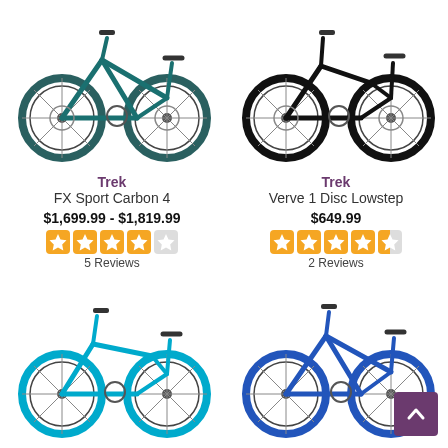[Figure (photo): Trek FX Sport Carbon 4 bicycle in teal/dark color, side view]
[Figure (photo): Trek Verve 1 Disc Lowstep bicycle in black, step-through frame side view]
Trek
FX Sport Carbon 4
Trek
Verve 1 Disc Lowstep
$1,699.99 - $1,819.99
$649.99
[Figure (other): 4 out of 5 stars rating (orange star rating widget)]
5 Reviews
[Figure (other): 4.5 out of 5 stars rating (orange star rating widget)]
2 Reviews
[Figure (photo): Cyan/blue step-through hybrid bicycle, side view]
[Figure (photo): Blue hybrid bicycle, side view]